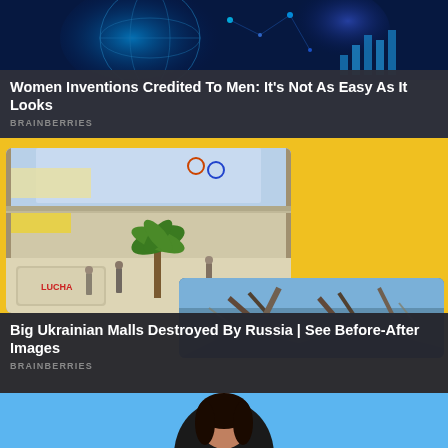[Figure (photo): Abstract blue digital/technology background with glowing orbs and network patterns]
Women Inventions Credited To Men: It's Not As Easy As It Looks
BRAINBERRIES
[Figure (photo): Shopping mall interior with palm trees and shoppers, yellow background card. Also includes image of destroyed building/mall structure.]
Big Ukrainian Malls Destroyed By Russia | See Before-After Images
BRAINBERRIES
[Figure (photo): Person with dark hair on blue background, partially visible at bottom of page]